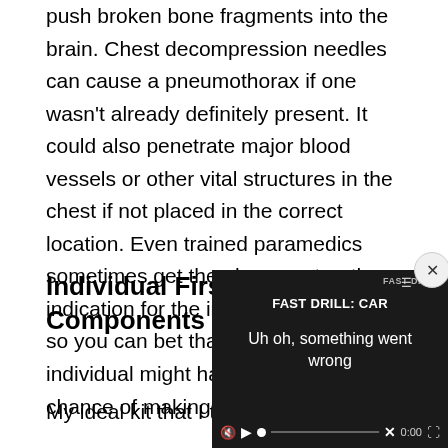push broken bone fragments into the brain. Chest decompression needles can cause a pneumothorax if one wasn't already definitely present. It could also penetrate major blood vessels or other vital structures in the chest if not placed in the correct location. Even trained paramedics sometimes get the placement or the indication for the intervention wrong, so you can bet that an untrained individual might have an even greater chance of making a mistake.
Individual First Aid Kit Components
My ideal kit that I take eve
[Figure (screenshot): Embedded video player overlay showing 'FAST DRILL: CAR' title with error message 'Uh oh, something went wrong' and video controls including mute, play, progress bar with X mark, time 0:00, and fullscreen button. Has a close (x) button in top right corner.]